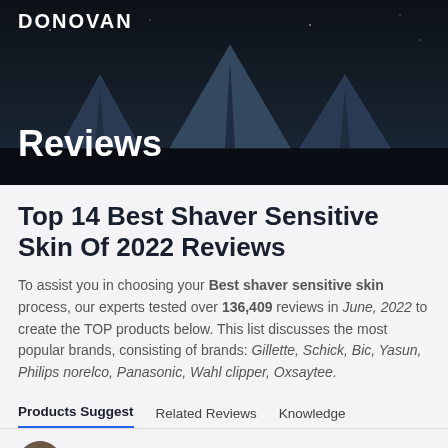DONOVAN
Reviews
Top 14 Best Shaver Sensitive Skin Of 2022 Reviews
To assist you in choosing your Best shaver sensitive skin process, our experts tested over 136,409 reviews in June, 2022 to create the TOP products below. This list discusses the most popular brands, consisting of brands: Gillette, Schick, Bic, Yasun, Philips norelco, Panasonic, Wahl clipper, Oxsaytee.
Products Suggest   Related Reviews   Knowledge
By, Arnold Bennett
Jun 19, 2022